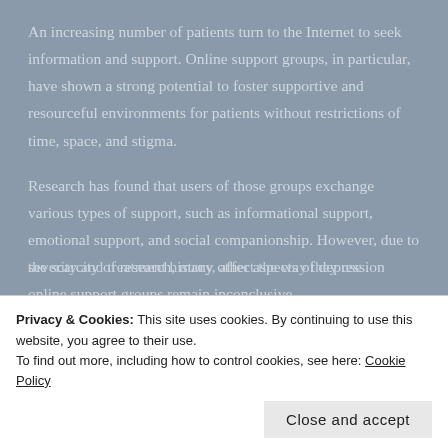An increasing number of patients turn to the Internet to seek information and support. Online support groups, in particular, have shown a strong potential to foster supportive and resourceful environments for patients without restrictions of time, space, and stigma.
Research has found that users of those groups exchange various types of support, such as informational support, emotional support, and social companionship. However, due to the scarcity of research, many other aspects of depression online support groups remain inconclusive.
Privacy & Cookies: This site uses cookies. By continuing to use this website, you agree to their use.
To find out more, including how to control cookies, see here: Cookie Policy
severity and treatment history, affect the way they use